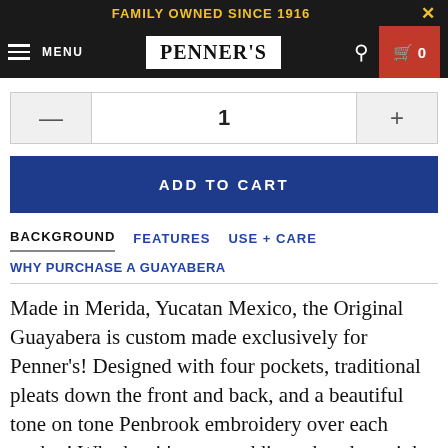FAMILY OWNED SINCE 1916
[Figure (screenshot): Penner's navigation bar with hamburger menu, logo, search icon, and cart button showing 0 items]
1
ADD TO CART
BACKGROUND   FEATURES   USE + CARE
WHY PURCHASE A GUAYABERA
Made in Merida, Yucatan Mexico, the Original Guayabera is custom made exclusively for Penner's! Designed with four pockets, traditional pleats down the front and back, and a beautiful tone on tone Penbrook embroidery over each pocket! Whether it's to a wedding, church, a night